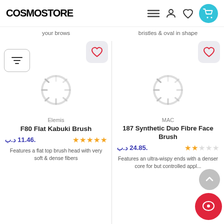COSMOSTORE
your brows
bristles & oval in shape
[Figure (screenshot): Elemis F80 Flat Kabuki Brush product card with loading spinner, wishlist heart, price د.ب. 11.46, 5-star rating, description: Features a flat top brush head with very soft & dense fibers]
[Figure (screenshot): MAC 187 Synthetic Duo Fibre Face Brush product card with loading spinner, wishlist heart, price د.ب. 24.85, 2-star rating, description: Features an ultra-wispy ends with a denser core for but controlled application]